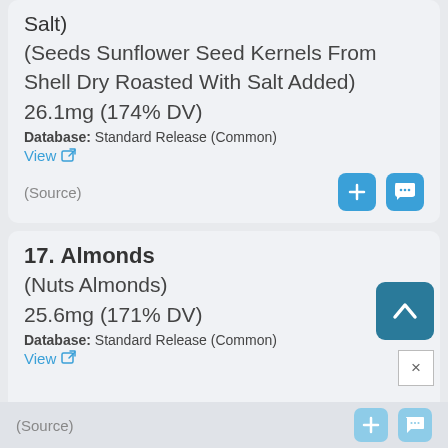Salt) (Seeds Sunflower Seed Kernels From Shell Dry Roasted With Salt Added) 26.1mg (174% DV)
Database: Standard Release (Common)
View
(Source)
17. Almonds (Nuts Almonds) 25.6mg (171% DV) Database: Standard Release (Common) View
(Source)